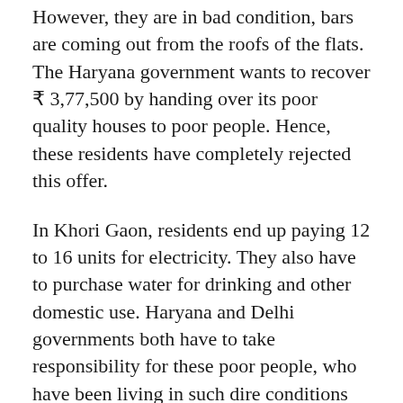However, they are in bad condition, bars are coming out from the roofs of the flats. The Haryana government wants to recover ₹ 3,77,500 by handing over its poor quality houses to poor people. Hence, these residents have completely rejected this offer.
In Khori Gaon, residents end up paying 12 to 16 units for electricity. They also have to purchase water for drinking and other domestic use. Haryana and Delhi governments both have to take responsibility for these poor people, who have been living in such dire conditions on a post-quarry landscape.
Regrettably, there is a lot of confusion among the people due to the absence of a single organization in the entire Khori village and multiple cases filed in various courts.